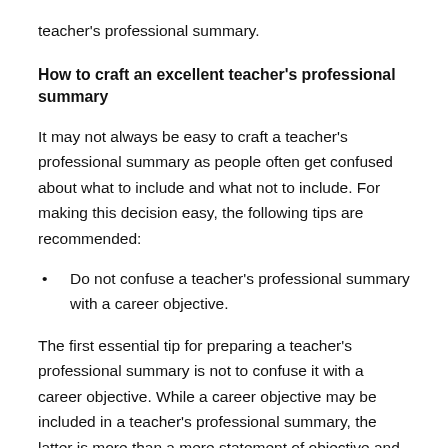teacher's professional summary.
How to craft an excellent teacher's professional summary
It may not always be easy to craft a teacher's professional summary as people often get confused about what to include and what not to include. For making this decision easy, the following tips are recommended:
Do not confuse a teacher's professional summary with a career objective.
The first essential tip for preparing a teacher's professional summary is not to confuse it with a career objective. While a career objective may be included in a teacher's professional summary, the latter is more than a mere statement of objective and can be much bigger. Moreover,